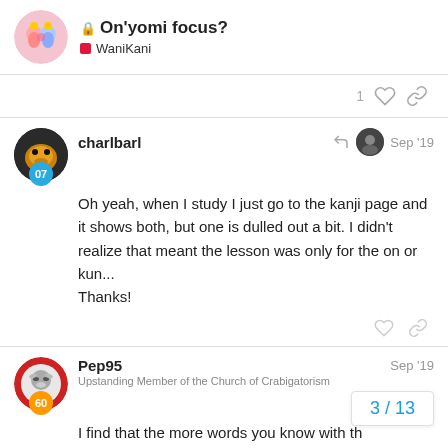On'yomi focus? — WaniKani
1
charlbarl — Sep '19
Oh yeah, when I study I just go to the kanji page and it shows both, but one is dulled out a bit. I didn't realize that meant the lesson was only for the on or kun...
Thanks!
Pep95 — Sep '19 — Upstanding Member of the Church of Crabigatorism
I find that the more words you know with th easier it becomes to find the one that is be
3 / 13